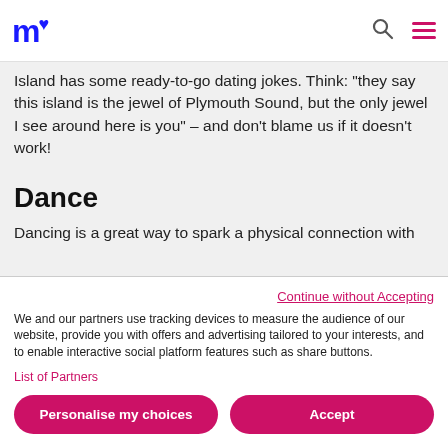m♥ [logo] [search icon] [menu icon]
Island has some ready-to-go dating jokes. Think: "they say this island is the jewel of Plymouth Sound, but the only jewel I see around here is you" – and don't blame us if it doesn't work!
Dance
Dancing is a great way to spark a physical connection with someone – and an excuse to let loose with the person you're dating! There are some wonderful places to go dancing on your dating journey in Plymouth. Here are just a few:
Continue without Accepting
We and our partners use tracking devices to measure the audience of our website, provide you with offers and advertising tailored to your interests, and to enable interactive social platform features such as share buttons.
List of Partners
Personalise my choices    Accept